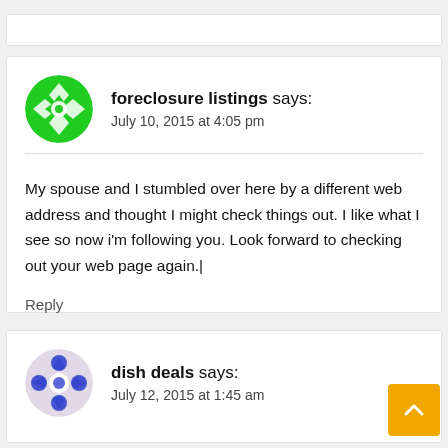foreclosure listings says: July 10, 2015 at 4:05 pm
My spouse and I stumbled over here by a different web address and thought I might check things out. I like what I see so now i'm following you. Look forward to checking out your web page again.|
Reply
dish deals says: July 12, 2015 at 1:45 am